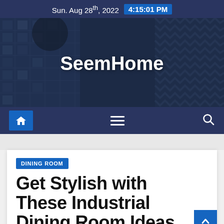Sun. Aug 28th, 2022  4:15:01 PM
[Figure (photo): Hero banner with dark blue-tinted architectural/building photo background and SeemHome website logo text in white]
SeemHome
[Figure (other): Dark blue navigation bar with home icon button on left, hamburger menu icon in center, and search icon on right]
DINING ROOM
Get Stylish with These Industrial Dining Room Ideas